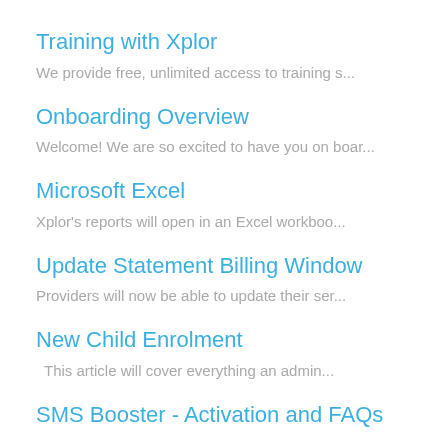Training with Xplor
We provide free, unlimited access to training s...
Onboarding Overview
Welcome! We are so excited to have you on boar...
Microsoft Excel
Xplor's reports will open in an Excel workboo...
Update Statement Billing Window
Providers will now be able to update their ser...
New Child Enrolment
This article will cover everything an admin...
SMS Booster - Activation and FAQs